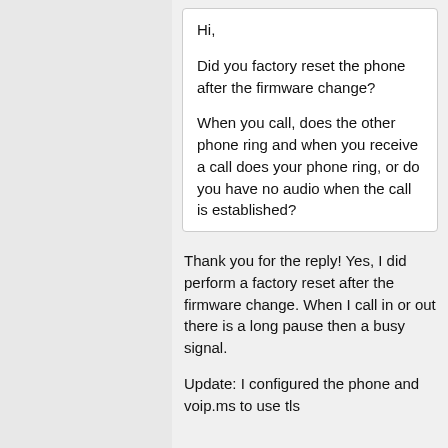Hi,

Did you factory reset the phone after the firmware change?

When you call, does the other phone ring and when you receive a call does your phone ring, or do you have no audio when the call is established?
Thank you for the reply! Yes, I did perform a factory reset after the firmware change. When I call in or out there is a long pause then a busy signal.
Update: I configured the phone and voip.ms to use tls